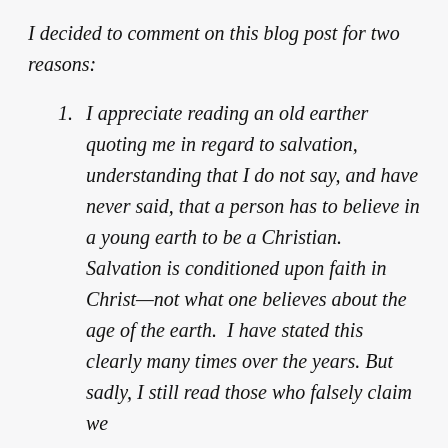I decided to comment on this blog post for two reasons:
I appreciate reading an old earther quoting me in regard to salvation, understanding that I do not say, and have never said, that a person has to believe in a young earth to be a Christian. Salvation is conditioned upon faith in Christ—not what one believes about the age of the earth.  I have stated this clearly many times over the years. But sadly, I still read those who falsely claim we